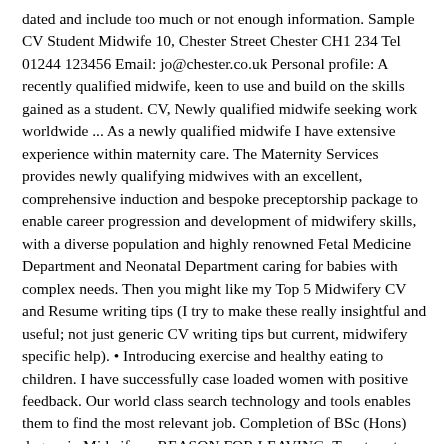dated and include too much or not enough information. Sample CV Student Midwife 10, Chester Street Chester CH1 234 Tel 01244 123456 Email: jo@chester.co.uk Personal profile: A recently qualified midwife, keen to use and build on the skills gained as a student. CV, Newly qualified midwife seeking work worldwide ... As a newly qualified midwife I have extensive experience within maternity care. The Maternity Services provides newly qualifying midwives with an excellent, comprehensive induction and bespoke preceptorship package to enable career progression and development of midwifery skills, with a diverse population and highly renowned Fetal Medicine Department and Neonatal Department caring for babies with complex needs. Then you might like my Top 5 Midwifery CV and Resume writing tips (I try to make these really insightful and useful; not just generic CV writing tips but current, midwifery specific help). • Introducing exercise and healthy eating to children. I have successfully case loaded women with positive feedback. Our world class search technology and tools enables them to find the most relevant job. Completion of BSc (Hons) degree in Midwifery; REASON FOR LEAVING: To return to work within the corporate environment. Angela. Please fill in the following form to contact ives, GDPR – Handling of Confidential and Sensitive Job Description: The established co-located Alexandra Birth Centre, home birth and the Delivery Suite. I have a strong commitment to providing patient centred holistic care whilst developing my midwifery knowledge. Job Description: